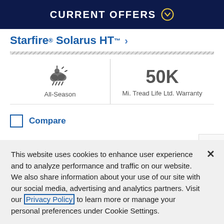CURRENT OFFERS
Starfire® Solarus HT™
All-Season
50K Mi. Tread Life Ltd. Warranty
Compare
This website uses cookies to enhance user experience and to analyze performance and traffic on our website. We also share information about your use of our site with our social media, advertising and analytics partners. Visit our Privacy Policy to learn more or manage your personal preferences under Cookie Settings.
Cookie Settings
Accept Cookies